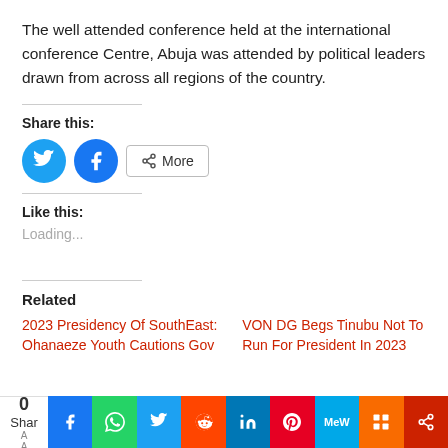The well attended conference held at the international conference Centre, Abuja was attended by political leaders drawn from across all regions of the country.
Share this:
[Figure (screenshot): Social share buttons: Twitter circle, Facebook circle, and a More button]
Like this:
Loading...
Related
2023 Presidency Of SouthEast: Ohanaeze Youth Cautions Gov
VON DG Begs Tinubu Not To Run For President In 2023
[Figure (screenshot): Bottom social media share bar with share count 0, Facebook, WhatsApp, Twitter, Reddit, LinkedIn, Pinterest, MeWe, Mix, and More buttons]